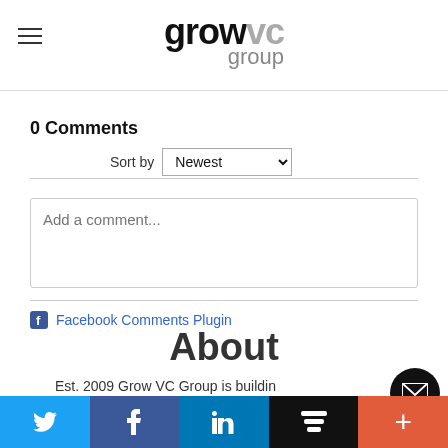[Figure (logo): Grow VC Group logo with hamburger menu icon on the left]
0 Comments
Sort by Newest
Add a comment...
Facebook Comments Plugin
About
Est. 2009 Grow VC Group is buildin…
Twitter | Facebook | LinkedIn | Buffer | Plus